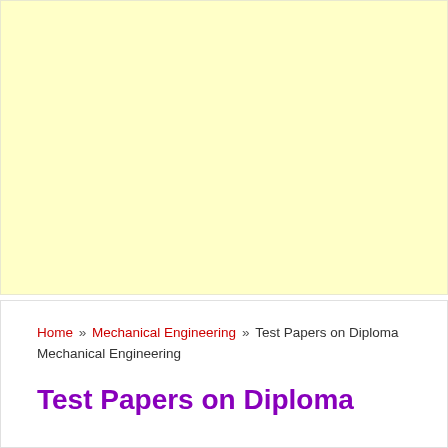[Figure (other): Light yellow advertisement banner placeholder area]
Home » Mechanical Engineering » Test Papers on Diploma Mechanical Engineering
Test Papers on Diploma